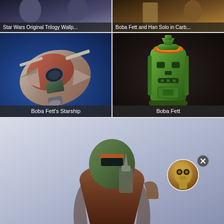[Figure (photo): Star Wars Original Trilogy wallpaper thumbnail with label overlay]
Star Wars Original Trilogy Wallp...
[Figure (photo): Boba Fett and Han Solo in Carbonite thumbnail with label overlay]
Boba Fett and Han Solo in Carb...
[Figure (photo): Boba Fett's Starship (Slave I) model on blue background]
Boba Fett's Starship
[Figure (photo): Boba Fett green tiki mug on dark background]
Boba Fett
[Figure (photo): Boba Fett figure from behind on gradient background with C-3PO notification circle overlay]